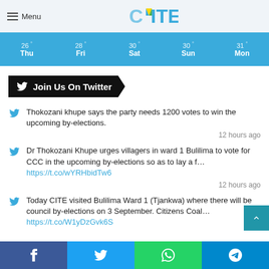Menu | CITE logo
[Figure (other): Weather forecast bar showing dates 26 Thu, 28 Fri, 30 Sat, 30 Sun, 31 Mon]
Join Us On Twitter
Thokozani khupe says the party needs 1200 votes to win the upcoming by-elections.
12 hours ago
Dr Thokozani Khupe urges villagers in ward 1 Bulilima to vote for CCC in the upcoming by-elections so as to lay a f… https://t.co/wYRHbidTw6
12 hours ago
Today CITE visited Bulilima Ward 1 (Tjankwa) where there will be council by-elections on 3 September. Citizens Coal… https://t.co/W1yDzGvk6S